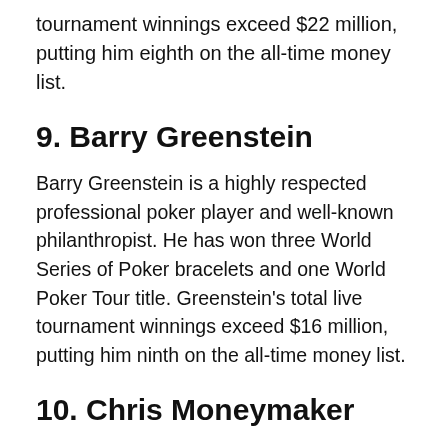tournament winnings exceed $22 million, putting him eighth on the all-time money list.
9. Barry Greenstein
Barry Greenstein is a highly respected professional poker player and well-known philanthropist. He has won three World Series of Poker bracelets and one World Poker Tour title. Greenstein’s total live tournament winnings exceed $16 million, putting him ninth on the all-time money list.
10. Chris Moneymaker
Chris Moneymaker is the man who famously